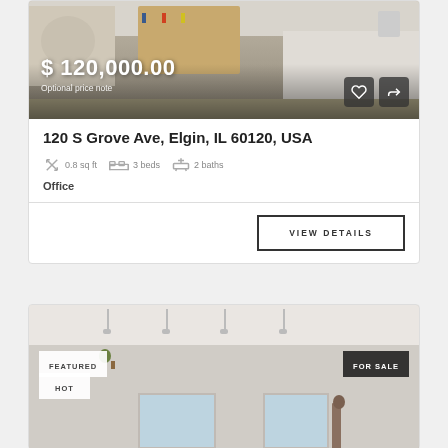[Figure (photo): Interior room photo showing a home office with bookshelves, desk, and computer monitor. Price overlay shows $120,000.00 with 'Optional price note' text and action buttons (heart and share).]
$ 120,000.00
Optional price note
120 S Grove Ave, Elgin, IL 60120, USA
0.8 sq ft   3 beds   2 baths
Office
VIEW DETAILS
[Figure (photo): Interior living room photo with ceiling lights/pendants, windows, and a grandfather clock. Badges: FEATURED, HOT, FOR SALE.]